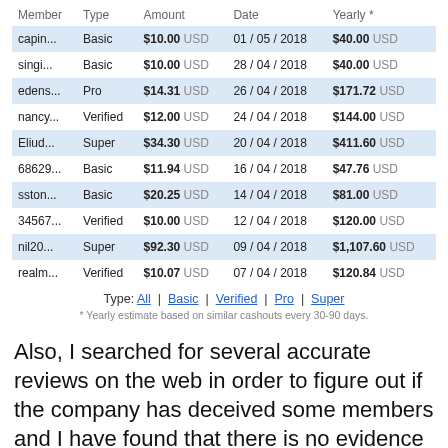| Member | Type | Amount | Date | Yearly * |
| --- | --- | --- | --- | --- |
| capin... | Basic | $10.00 USD | 01 / 05 / 2018 | $40.00 USD |
| singi... | Basic | $10.00 USD | 28 / 04 / 2018 | $40.00 USD |
| edens... | Pro | $14.31 USD | 26 / 04 / 2018 | $171.72 USD |
| nancy... | Verified | $12.00 USD | 24 / 04 / 2018 | $144.00 USD |
| Eliud... | Super | $34.30 USD | 20 / 04 / 2018 | $411.60 USD |
| 68629... | Basic | $11.94 USD | 16 / 04 / 2018 | $47.76 USD |
| sston... | Basic | $20.25 USD | 14 / 04 / 2018 | $81.00 USD |
| 34567... | Verified | $10.00 USD | 12 / 04 / 2018 | $120.00 USD |
| nil20... | Super | $92.30 USD | 09 / 04 / 2018 | $1,107.60 USD |
| realm... | Verified | $10.07 USD | 07 / 04 / 2018 | $120.84 USD |
Type: All | Basic | Verified | Pro | Super
* Yearly estimate based on similar cashouts every 30-90 days.
Also, I searched for several accurate reviews on the web in order to figure out if the company has deceived some members and I have found that there is no evidence which prove that Wordlinx scammed some